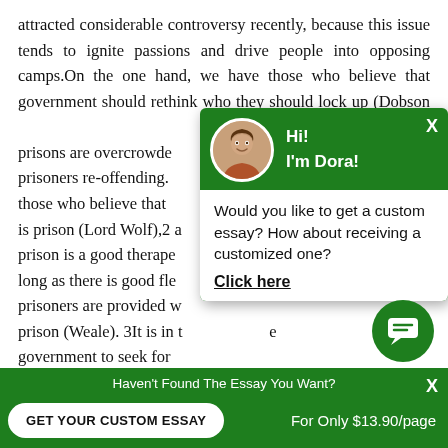attracted considerable controversy recently, because this issue tends to ignite passions and drive people into opposing camps.On the one hand, we have those who believe that government should rethink who they should lock up (Dobson) prisons are overcrowded x-prisoners re-offending. those who believe that s is prison (Lord Wolf),2 a t prison is a good therape long as there is good fle prisoners are provided w prison (Weale). 3It is in t e government to seek for crimes. However, is it really necessary to lock offenders up for committing petty crimes? We
[Figure (infographic): Green popup chat widget showing avatar of a woman named Dora with greeting 'Hi! I'm Dora!' and message 'Would you like to get a custom essay? How about receiving a customized one?' with a 'Click here' link]
[Figure (infographic): Green circular chat bubble icon with speech bubble symbol in white]
[Figure (infographic): Green bottom banner with text 'Haven't Found The Essay You Want?' and a white button 'GET YOUR CUSTOM ESSAY' and text 'For Only $13.90/page']